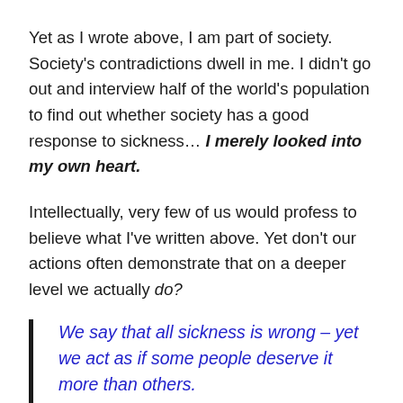Yet as I wrote above, I am part of society. Society's contradictions dwell in me. I didn't go out and interview half of the world's population to find out whether society has a good response to sickness… I merely looked into my own heart.
Intellectually, very few of us would profess to believe what I've written above. Yet don't our actions often demonstrate that on a deeper level we actually do?
We say that all sickness is wrong – yet we act as if some people deserve it more than others.
We say that we ought to love selflessly –